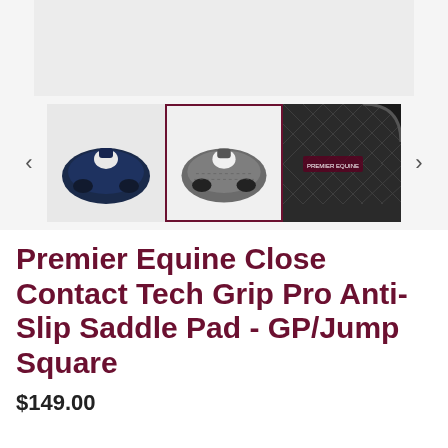[Figure (photo): Product image gallery showing three thumbnail views of a saddle pad: navy blue version, grey version (selected/highlighted), and close-up of quilted black corner detail. Navigation arrows on left and right sides.]
Premier Equine Close Contact Tech Grip Pro Anti-Slip Saddle Pad - GP/Jump Square
$149.00